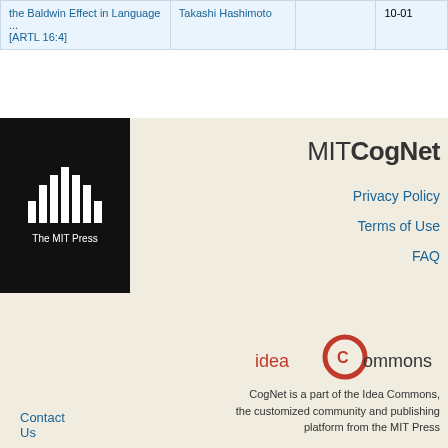| the Baldwin Effect in Language ... [ARTL 16:4] | Takashi Hashimoto |  | 10-01 |
[Figure (logo): The MIT Press logo: white vertical bars on black background with text 'The MIT Press']
MITCogNet
Privacy Policy
Terms of Use
FAQ
Contact Us
[Figure (logo): Idea Commons logo: 'idea' in red/dark text followed by a red circular C and 'ommons' in dark text]
CogNet is a part of the Idea Commons, the customized community and publishing platform from the MIT Press